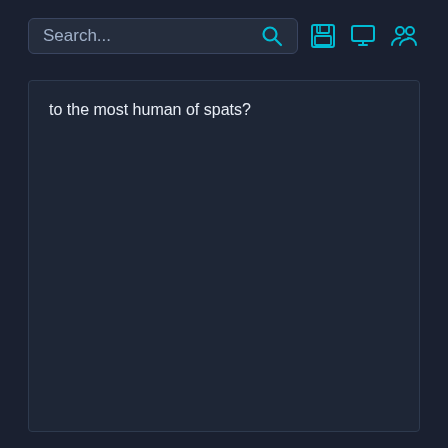[Figure (screenshot): Dark-themed UI with a search bar containing placeholder text 'Search...' and a cyan search icon, plus three cyan icon buttons (save, monitor, users) on the right.]
to the most human of spats?